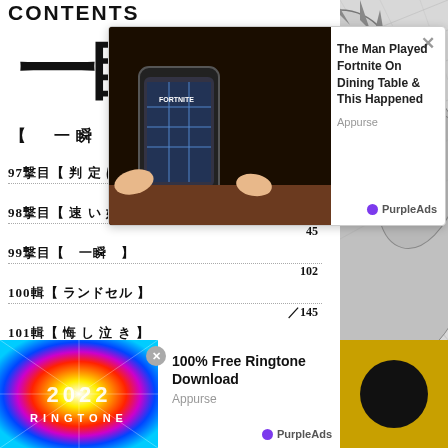[Figure (screenshot): Manga table of contents page (日本語) showing chapter numbers 97-101 with Japanese titles and page numbers, overlaid with two advertisement popups]
CONTENTS
【 一瞬 】
97撃目【 判 定 は？ ] 7
98撃目【 速 い 奴 ] 45
99撃目【 　一瞬 　] 102
100輯【 ランドセル ] ／145
101輯【 悔 し 泣 き ] ／177
[Figure (screenshot): Ad popup: The Man Played Fortnite On Dining Table & This Happened - Appurse - PurpleAds]
[Figure (screenshot): Ad popup: 100% Free Ringtone Download - Appurse - PurpleAds - 2022 RINGTONE colorful graphic]